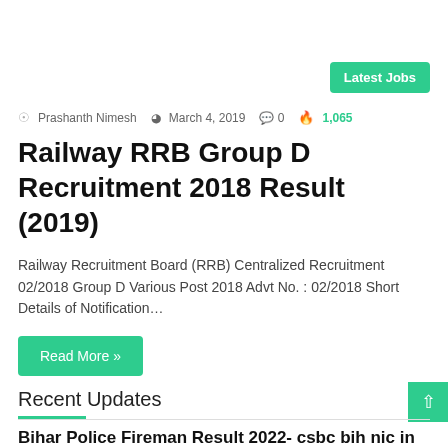Latest Jobs
Prashanth Nimesh  March 4, 2019  0  1,065
Railway RRB Group D Recruitment 2018 Result (2019)
Railway Recruitment Board (RRB) Centralized Recruitment 02/2018 Group D Various Post 2018 Advt No. : 02/2018 Short Details of Notification…
Read More »
Recent Updates
Bihar Police Fireman Result 2022- csbc bih nic in